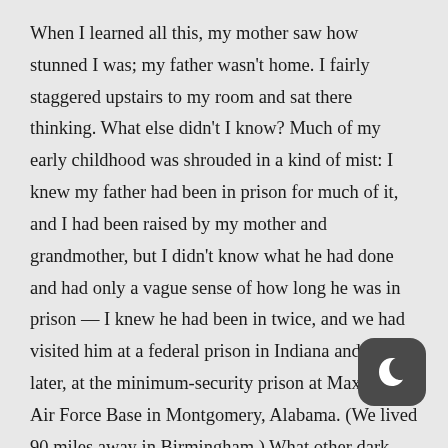When I learned all this, my mother saw how stunned I was; my father wasn't home. I fairly staggered upstairs to my room and sat there thinking. What else didn't I know? Much of my early childhood was shrouded in a kind of mist: I knew my father had been in prison for much of it, and I had been raised by my mother and grandmother, but I didn't know what he had done and had only a vague sense of how long he was in prison — I knew he had been in twice, and we had visited him at a federal prison in Indiana and then, later, at the minimum-security prison at Maxwell Air Force Base in Montgomery, Alabama. (We lived 90 miles away in Birmingham.) What other dark stories were there to tell and to hear?
A few hours later my father came home, and after my
[Figure (illustration): Dark gray rounded square icon with a white crescent moon symbol — a night mode / dark mode toggle button]